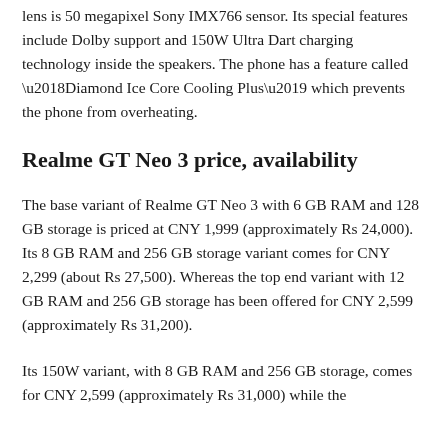lens is 50 megapixel Sony IMX766 sensor. Its special features include Dolby support and 150W Ultra Dart charging technology inside the speakers. The phone has a feature called ‘Diamond Ice Core Cooling Plus’ which prevents the phone from overheating.
Realme GT Neo 3 price, availability
The base variant of Realme GT Neo 3 with 6 GB RAM and 128 GB storage is priced at CNY 1,999 (approximately Rs 24,000). Its 8 GB RAM and 256 GB storage variant comes for CNY 2,299 (about Rs 27,500). Whereas the top end variant with 12 GB RAM and 256 GB storage has been offered for CNY 2,599 (approximately Rs 31,200).
Its 150W variant, with 8 GB RAM and 256 GB storage, comes for CNY 2,599 (approximately Rs 31,000) while the